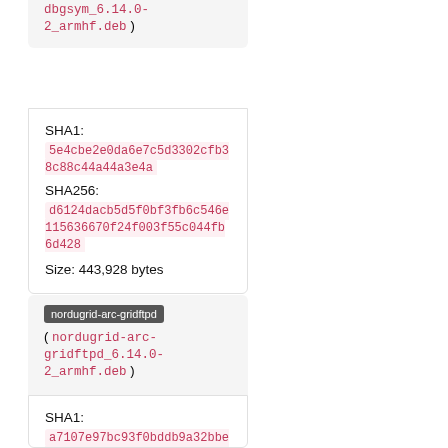dbgsym_6.14.0-2_armhf.deb )
SHA1: 5e4cbe2e0da6e7c5d3302cfb38c88c44a44a3e4a
SHA256: d6124dacb5d5f0bf3fb6c546e115636670f24f003f55c044fb6d428...
Size: 443,928 bytes
nordugrid-arc-gridftpd ( nordugrid-arc-gridftpd_6.14.0-2_armhf.deb )
SHA1: a7107e97bc93f0bddb9a32bbea99993ecc9d39555
SHA256: a7f916a6f8ca51519328d08eae6b951ea020ebb49a7221c9af27dff...